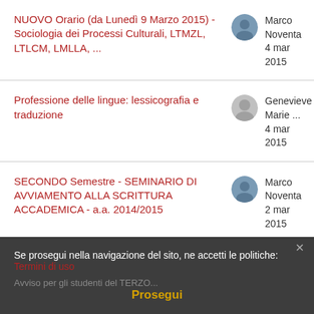NUOVO Orario (da Lunedì 9 Marzo 2015) - Sociologia dei Processi Culturali, LTMZL, LTLCM, LMLLA, ...
Marco Noventa
4 mar 2015
Professione delle lingue: lessicografia e traduzione
Genevieve Marie ...
4 mar 2015
SECONDO Semestre - SEMINARIO DI AVVIAMENTO ALLA SCRITTURA ACCADEMICA - a.a. 2014/2015
Marco Noventa
2 mar 2015
Se prosegui nella navigazione del sito, ne accetti le politiche:
Termini di uso
Prosegui
Avviso per gli studenti del TERZO...